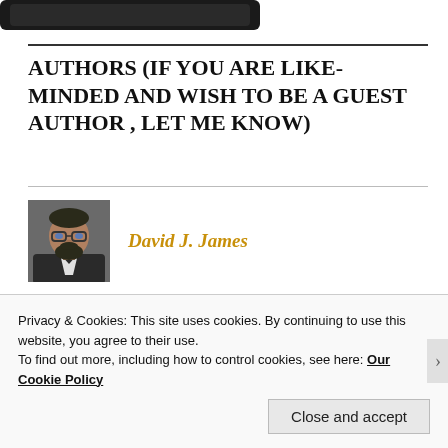[Figure (screenshot): Dark banner at top of page, partially visible]
AUTHORS (IF YOU ARE LIKE-MINDED AND WISH TO BE A GUEST AUTHOR , LET ME KNOW)
[Figure (photo): Headshot of David J. James, a bearded man with glasses]
David J. James
The Agroletnica site is practically ready
Silence is Goldlist?
Can I keep my aquarium in my bedroom?
Vladimir Khailo at Wem Baptist Church
Privacy & Cookies: This site uses cookies. By continuing to use this website, you agree to their use.
To find out more, including how to control cookies, see here: Our Cookie Policy
Close and accept